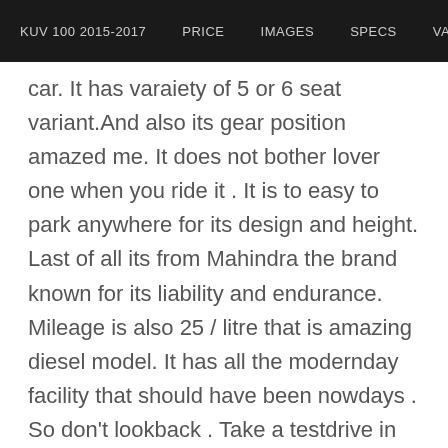KUV 100 2015-2017   PRICE   IMAGES   SPECS   VAR
car. It has varaiety of 5 or 6 seat variant.And also its gear position amazed me. It does not bother lover one when you ride it . It is to easy to park anywhere for its design and height. Last of all its from Mahindra the brand known for its liability and endurance. Mileage is also 25 / litre that is amazing diesel model. It has all the modernday facility that should have been nowdays . So don't lookback . Take a testdrive in your nearest dealer and get attractive offer in this January 2017 upto 45000 you have to save. So hurry up.